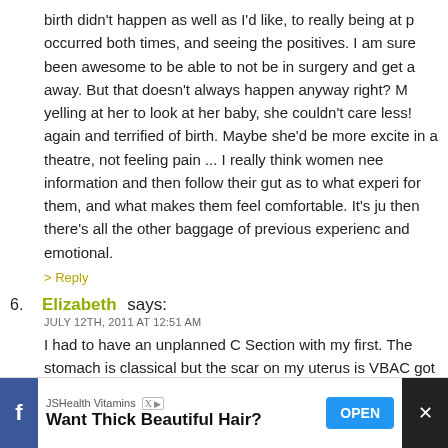birth didn't happen as well as I'd like, to really being at p occurred both times, and seeing the positives. I am sure been awesome to be able to not be in surgery and get a away. But that doesn't always happen anyway right? M yelling at her to look at her baby, she couldn't care less! again and terrified of birth. Maybe she'd be more excite in a theatre, not feeling pain ... I really think women nee information and then follow their gut as to what experi for them, and what makes them feel comfortable. It's ju then there's all the other baggage of previous experienc and emotional.
> Reply
6. Elizabeth says: JULY 12TH, 2011 AT 12:51 AM
I had to have an unplanned C Section with my first. The stomach is classical but the scar on my uterus is VBAC got pregnant with my second child my OB did the same
[Figure (other): Advertisement banner at the bottom: JSHealth Vitamins - Want Thick Beautiful Hair? with OPEN button, Facebook icon on left, X/close button on right]